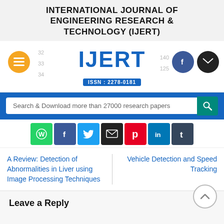INTERNATIONAL JOURNAL OF ENGINEERING RESEARCH & TECHNOLOGY (IJERT)
[Figure (logo): IJERT logo with ISSN: 2278-0181, navigation menu button (orange), Facebook and email icons, row numbers 32/33/34 on left side]
[Figure (screenshot): Search bar: 'Search & Download more than 27000 research papers' with teal search button, on blue background]
[Figure (infographic): Row of social share icons: WhatsApp (green), Facebook (dark blue), Twitter (light blue), Email (black), Pinterest (red), LinkedIn (blue), Tumblr (dark)]
A Review: Detection of Abnormalities in Liver using Image Processing Techniques
Vehicle Detection and Speed Tracking
Leave a Reply